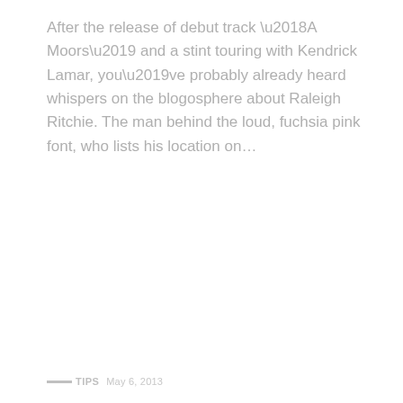After the release of debut track ‘A Moors’ and a stint touring with Kendrick Lamar, you’ve probably already heard whispers on the blogosphere about Raleigh Ritchie. The man behind the loud, fuchsia pink font, who lists his location on…
TIPS   May 6, 2013